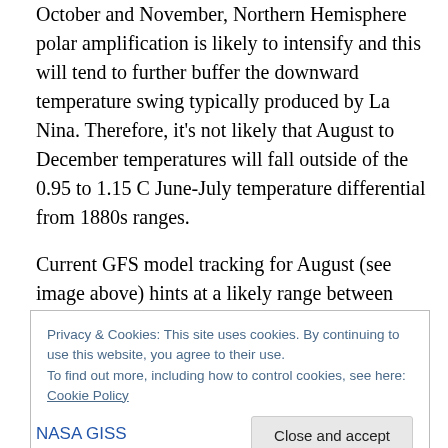October and November, Northern Hemisphere polar amplification is likely to intensify and this will tend to further buffer the downward temperature swing typically produced by La Nina. Therefore, it's not likely that August to December temperatures will fall outside of the 0.95 to 1.15 C June-July temperature differential from 1880s ranges.

Current GFS model tracking for August (see image above) hints at a likely range between 1.05 and 1.15 C above 1880s values, which means that August is currently on
Privacy & Cookies: This site uses cookies. By continuing to use this website, you agree to their use.
To find out more, including how to control cookies, see here: Cookie Policy
Close and accept
NASA GISS